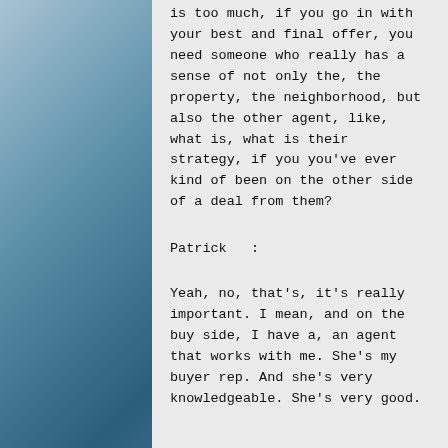is too much, if you go in with your best and final offer, you need someone who really has a sense of not only the, the property, the neighborhood, but also the other agent, like, what is, what is their strategy, if you you've ever kind of been on the other side of a deal from them?
Patrick   :
Yeah, no, that's, it's really important. I mean, and on the buy side, I have a, an agent that works with me. She's my buyer rep. And she's very knowledgeable. She's very good.